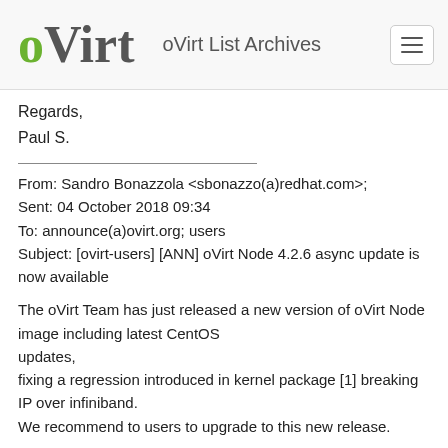oVirt List Archives
Regards,
Paul S.
From: Sandro Bonazzola <sbonazzo(a)redhat.com&gt;
Sent: 04 October 2018 09:34
To: announce(a)ovirt.org; users
Subject: [ovirt-users] [ANN] oVirt Node 4.2.6 async update is now available
The oVirt Team has just released a new version of oVirt Node image including latest CentOS updates,
fixing a regression introduced in kernel package [1] breaking IP over infiniband.
We recommend to users to upgrade to this new release.
Errata included: